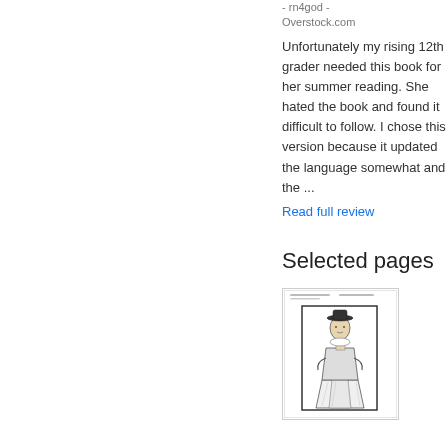- rn4god - Overstock.com
Unfortunately my rising 12th grader needed this book for her summer reading. She hated the book and found it difficult to follow. I chose this version because it updated the language somewhat and the ...
Read full review
Selected pages
[Figure (illustration): Thumbnail of a selected page showing a historical illustration of a figure in period dress with a wide skirt and hat, framed within a rectangular border]